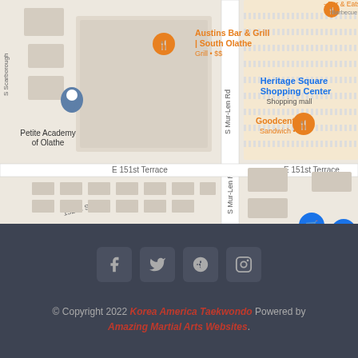[Figure (map): Google Maps screenshot showing area around E 151st Terrace and S Mur-Len Rd in Olathe, KS. Shows landmarks: Austins Bar & Grill South Olathe (Grill SS), Goodcents (Sandwich S), Petite Academy of Olathe, Heritage Square Shopping Center (Shopping mall), Sutherlands Home Improvement, Bar & Eats Barbecue SS. Streets visible: S Scarborough, E 151st Terrace, E 152nd St, S Mur-Len Rd.]
[Figure (other): Social media icons row: Facebook, Twitter, Google+, Instagram]
© Copyright 2022 Korea America Taekwondo Powered by Amazing Martial Arts Websites